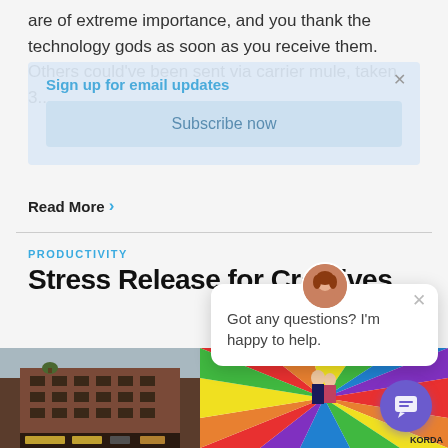are of extreme importance, and you thank the technology gods as soon as you receive them. Others could've been sent via carrier mule, taken 3...
Sign up for email updates
Subscribe now
Read More
PRODUCTIVITY
Stress Release for Creatives
[Figure (photo): Urban street photo on the left showing a red brick building with fire escapes, and a colorful mural on the right with rainbow rays and figures]
Got any questions? I'm happy to help.